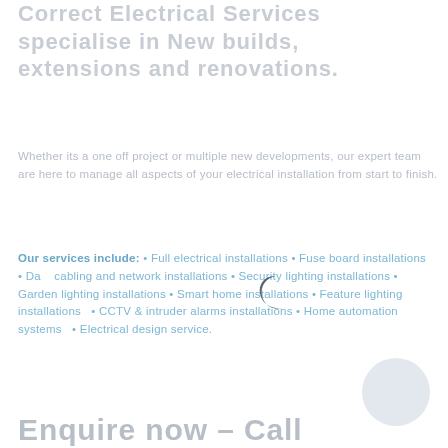Correct Electrical Services specialise in New builds, extensions and renovations.
Whether its a one off project or multiple new developments, our expert team are here to manage all aspects of your electrical installation from start to finish.
Our services include: • Full electrical installations • Fuse board installations  • Data cabling and network installations • Security lighting installations • Garden lighting installations • Smart home installations • Feature lighting installations  • CCTV & intruder alarms installations • Home automation systems  • Electrical design service.
[Figure (illustration): A dark crescent moon icon]
[Figure (illustration): A light grey circular element in the bottom-right area]
Enquire now – Call